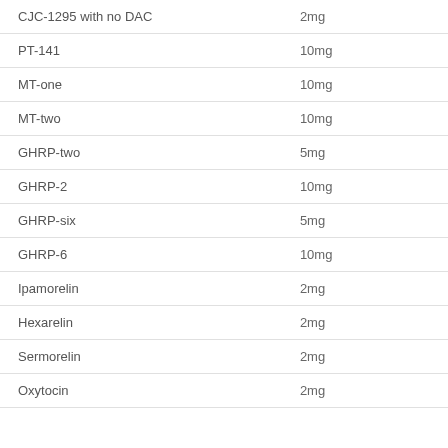| CJC-1295 with no DAC | 2mg |
| PT-141 | 10mg |
| MT-one | 10mg |
| MT-two | 10mg |
| GHRP-two | 5mg |
| GHRP-2 | 10mg |
| GHRP-six | 5mg |
| GHRP-6 | 10mg |
| Ipamorelin | 2mg |
| Hexarelin | 2mg |
| Sermorelin | 2mg |
| Oxytocin | 2mg |